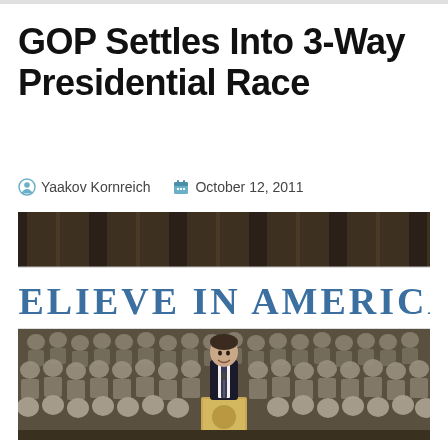GOP Settles Into 3-Way Presidential Race
Yaakov Kornreich   October 12, 2011
[Figure (photo): A man in a dark suit standing at a podium speaking before a large group of military personnel in uniform, with a banner reading 'BELIEVE IN AMERICA' behind them.]